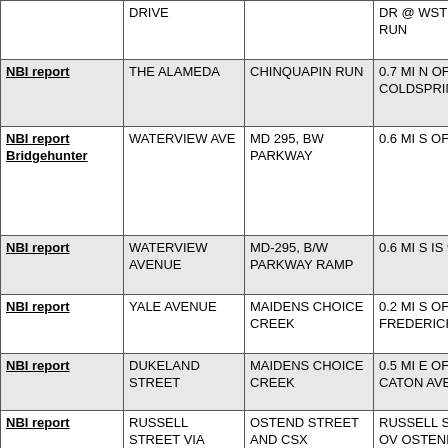|  | Street | Feature Crossed | Location |
| --- | --- | --- | --- |
|  | DRIVE |  | DR @ WSTRN RUN |
| NBI report | THE ALAMEDA | CHINQUAPIN RUN | 0.7 MI N OF COLDSPRING LA |
| NBI report Bridgehunter | WATERVIEW AVE | MD 295, BW PARKWAY | 0.6 MI S OF I-95 |
| NBI report | WATERVIEW AVENUE | MD-295, B/W PARKWAY RAMP | 0.6 MI S IS 95 |
| NBI report | YALE AVENUE | MAIDENS CHOICE CREEK | 0.2 MI S OF FREDERICK AVE |
| NBI report | DUKELAND STREET | MAIDENS CHOICE CREEK | 0.5 MI E OF CATON AVE |
| NBI report | RUSSELL STREET VIA | OSTEND STREET AND CSX | RUSSELL ST VIA OV OSTEND |
| NBI report | US 40 EDMONDSON AV | HILTON PARKWAY | 0.1 MI E OF HILTON PKWY |
| NBI report | STRATHMORE AVENUE | WESTERN RUN | 0.1 MI N CROSS COUNTRY BL |
| NBI report | HILTON STREET | AMTRAK | AT FREDERICK |